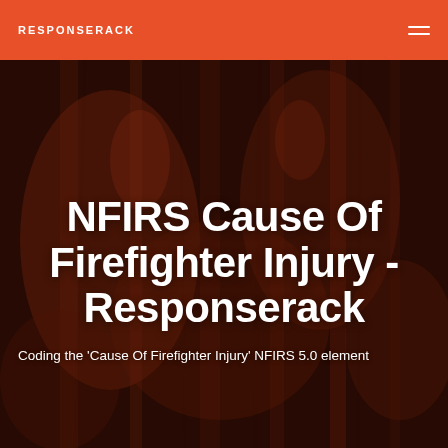RESPONSERACK
[Figure (photo): Dark fire scene background with reddish-brown flames and smoke, used as hero image behind the title text]
NFIRS Cause Of Firefighter Injury - Responserack
Coding the 'Cause Of Firefighter Injury' NFIRS 5.0 element